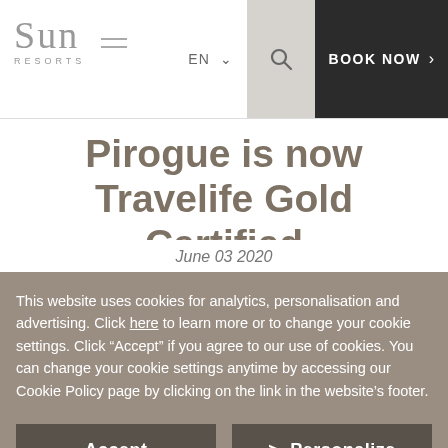Sun Resorts — EN | BOOK NOW
Pirogue is now Travelife Gold Certified
June 03 2020
This website uses cookies for analytics, personalisation and advertising. Click here to learn more or to change your cookie settings. Click "Accept" if you agree to our use of cookies. You can change your cookie settings anytime by accessing our Cookie Policy page by clicking on the link in the website's footer.
Accept
> Personalize